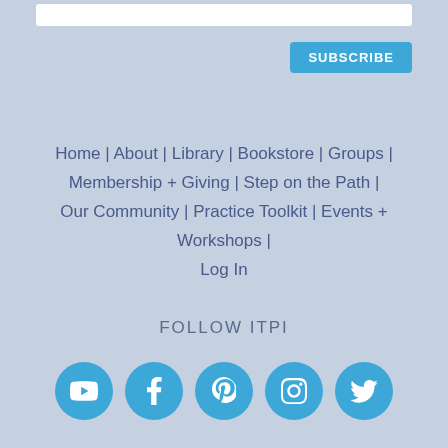SUBSCRIBE
Home | About | Library | Bookstore | Groups | Membership + Giving | Step on the Path | Our Community | Practice Toolkit | Events + Workshops | Log In
FOLLOW ITPI
[Figure (infographic): Five social media icons in blue circles: YouTube, Facebook, Pinterest, Instagram, Twitter]